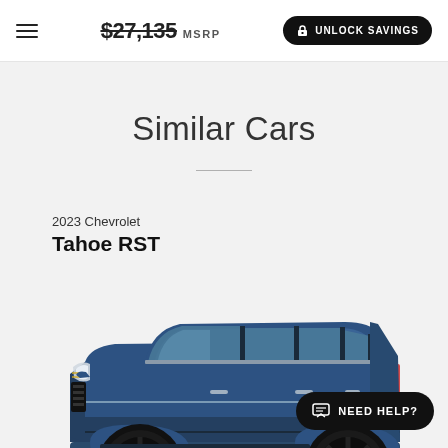$27,135 MSRP UNLOCK SAVINGS
Similar Cars
2023 Chevrolet
Tahoe RST
[Figure (photo): Side profile photo of a 2023 Chevrolet Tahoe RST in dark blue/navy color with black wheels on a light gray background]
NEED HELP?